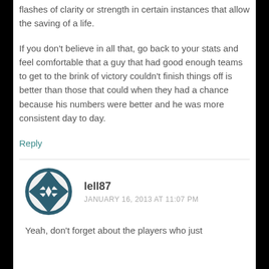flashes of clarity or strength in certain instances that allow the saving of a life.
If you don't believe in all that, go back to your stats and feel comfortable that a guy that had good enough teams to get to the brink of victory couldn't finish things off is better than those that could when they had a chance because his numbers were better and he was more consistent day to day.
Reply
lell87
JANUARY 16, 2013 AT 11:07 PM
Yeah, don't forget about the players who just